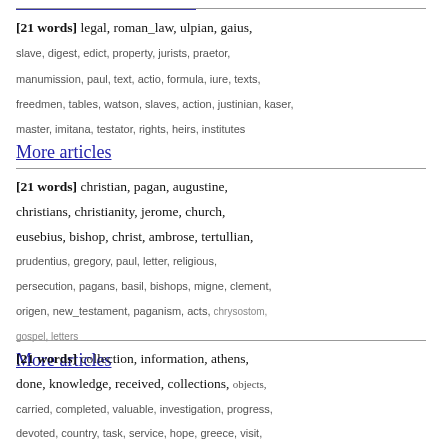[21 words] legal, roman_law, ulpian, gaius, slave, digest, edict, property, jurists, praetor, manumission, paul, text, actio, formula, iure, texts, freedmen, tables, watson, slaves, action, justinian, kaser, master, imitana, testator, rights, heirs, institutes
More articles
[21 words] christian, pagan, augustine, christians, christianity, jerome, church, eusebius, bishop, christ, ambrose, tertullian, prudentius, gregory, paul, letter, religious, persecution, pagans, basil, bishops, migne, clement, origen, new_testament, paganism, acts, chrysostom, gospel, letters
More articles
[21 words] collection, information, athens, done, knowledge, received, collections, objects, carried, completed, valuable, investigation, progress, devoted, country, task, service, hope, greece, visit, sent, every, volume, gave, soon, museums, value, german, full, future
More articles